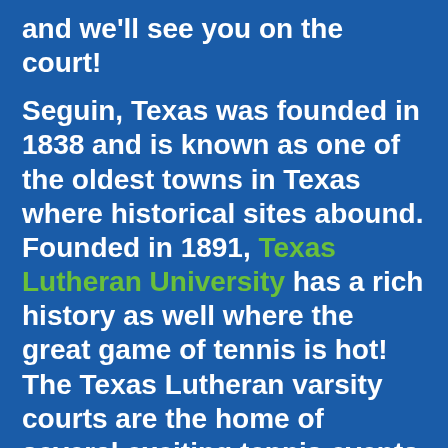and we'll see you on the court! Seguin, Texas was founded in 1838 and is known as one of the oldest towns in Texas where historical sites abound. Founded in 1891, Texas Lutheran University has a rich history as well where the great game of tennis is hot! The Texas Lutheran varsity courts are the home of several exciting tennis events including the TLU Bulldog Junior Open which is a really fun USTA (United States Tennis Association) state of Texas sanctioned tennis tournament.